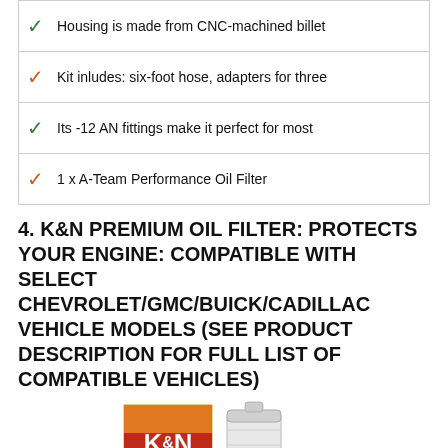Housing is made from CNC-machined billet
Kit inludes: six-foot hose, adapters for three
Its -12 AN fittings make it perfect for most
1 x A-Team Performance Oil Filter
4. K&N PREMIUM OIL FILTER: PROTECTS YOUR ENGINE: COMPATIBLE WITH SELECT CHEVROLET/GMC/BUICK/CADILLAC VEHICLE MODELS (SEE PRODUCT DESCRIPTION FOR FULL LIST OF COMPATIBLE VEHICLES)
[Figure (photo): K&N Performance Gold Oil Filter product shown in box packaging alongside a white cylindrical oil filter]